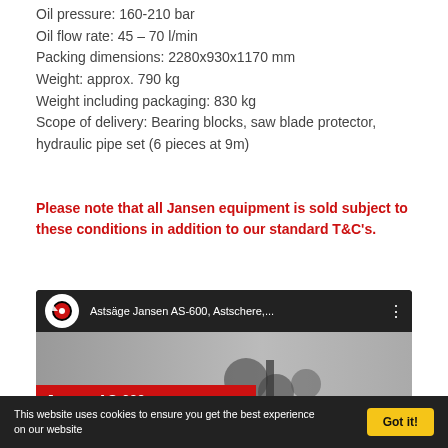Oil pressure: 160-210 bar
Oil flow rate: 45 – 70 l/min
Packing dimensions: 2280x930x1170 mm
Weight: approx. 790 kg
Weight including packaging: 830 kg
Scope of delivery: Bearing blocks, saw blade protector, hydraulic pipe set (6 pieces at 9m)
Please note that all Jansen equipment is sold subject to these conditions in addition to our standard T&C's.
[Figure (screenshot): YouTube video thumbnail showing Jansen AS-600 branch saw (Astsäge Jansen AS-600, Astschere,...) with YouTube logo, red title banner, machinery image, and play button.]